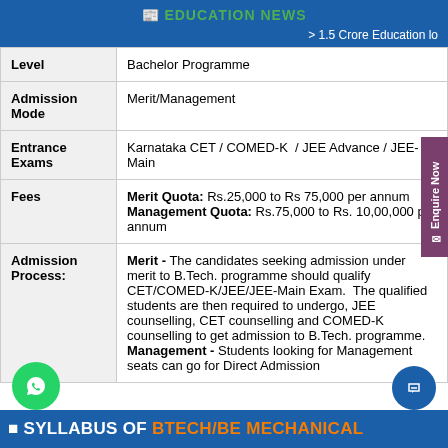EDUCATION NEWS
> 1.5 Crore Education lo
| Level | Bachelor Programme |
| Admission Mode | Merit/Management |
| Entrance Exams | Karnataka CET / COMED-K / JEE Advance / JEE-Main |
| Fees | Merit Quota: Rs.25,000 to Rs 75,000 per annum
Management Quota: Rs.75,000 to Rs. 10,00,000 per annum |
| Admission Process: | Merit - The candidates seeking admission under merit to B.Tech. programme should qualify CET/COMED-K/JEE/JEE-Main Exam. The qualified students are then required to undergo, JEE counselling, CET counselling and COMED-K counselling to get admission to B.Tech. programme.
Management - Students looking for Management seats can go for Direct Admission |
SYLLABUS OF BTECH/BE MECHANICAL